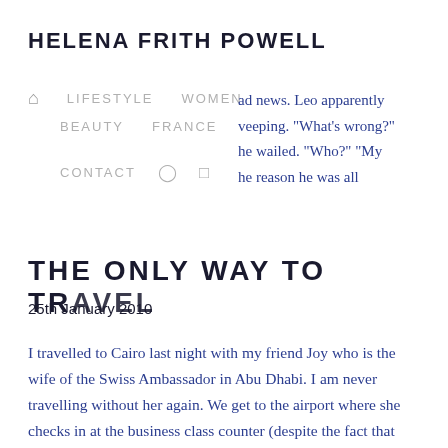HELENA FRITH POWELL
LIFESTYLE   WOMEN   BEAUTY   FRANCE   CONTACT
ad news. Leo apparently veeping. “What’s wrong?” he wailed. “Who?” “My he reason he was all
THE ONLY WAY TO TRAVEL
25th January 2010
I travelled to Cairo last night with my friend Joy who is the wife of the Swiss Ambassador in Abu Dhabi. I am never travelling without her again. We get to the airport where she checks in at the business class counter (despite the fact that